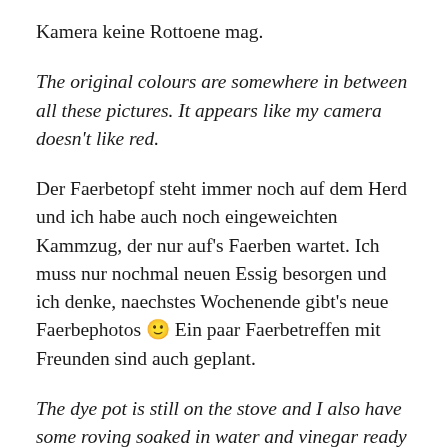Kamera keine Rottoene mag.
The original colours are somewhere in between all these pictures. It appears like my camera doesn't like red.
Der Faerbetopf steht immer noch auf dem Herd und ich habe auch noch eingeweichten Kammzug, der nur auf's Faerben wartet. Ich muss nur nochmal neuen Essig besorgen und ich denke, naechstes Wochenende gibt's neue Faerbephotos 🙂 Ein paar Faerbetreffen mit Freunden sind auch geplant.
The dye pot is still on the stove and I also have some roving soaked in water and vinegar ready for